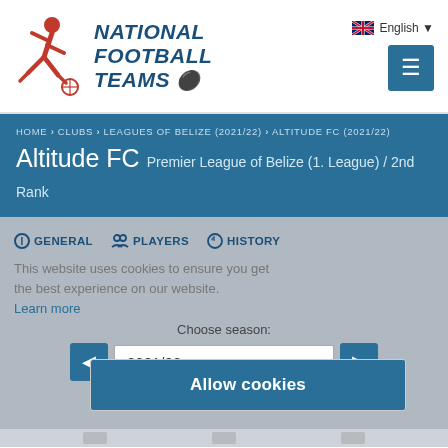[Figure (logo): National Football Teams website logo with red running player figure and bold italic blue text reading NATIONAL FOOTBALL TEAMS with a red soccer ball icon]
English
HOME > CLUBS > LEAGUES OF BELIZE (2021/22) > ALTITUDE FC (2021/22)
Altitude FC Premier League of Belize (1. League) / 2nd Rank
GENERAL   PLAYERS   HISTORY
This website uses cookies to ensure you get the best experience on our website. Learn more
Choose season:
2021/22
Allow cookies